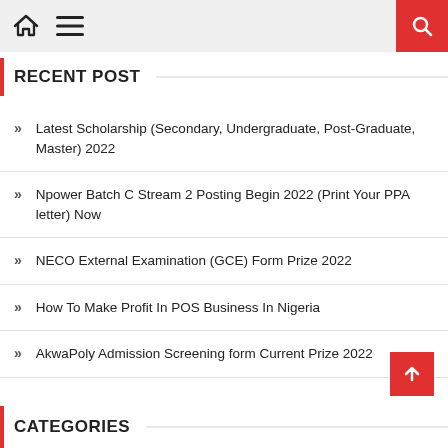Home / Menu / Search
RECENT POST
Latest Scholarship (Secondary, Undergraduate, Post-Graduate, Master) 2022
Npower Batch C Stream 2 Posting Begin 2022 (Print Your PPA letter) Now
NECO External Examination (GCE) Form Prize 2022
How To Make Profit In POS Business In Nigeria
AkwaPoly Admission Screening form Current Prize 2022
CATEGORIES